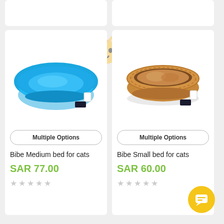[Figure (photo): Blue woven plastic pet basket bed with blue cushion inside]
Multiple Options
Bibe Medium bed for cats
SAR 77.00
[Figure (photo): Brown wicker/rattan pet basket bed with tan cushion inside]
Multiple Options
Bibe Small bed for cats
SAR 60.00